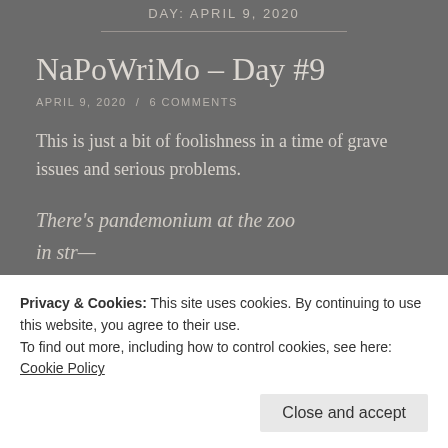DAY: APRIL 9, 2020
NaPoWriMo – Day #9
APRIL 9, 2020  /  6 COMMENTS
This is just a bit of foolishness in a time of grave issues and serious problems.
There's pandemonium at the zoo
Privacy & Cookies: This site uses cookies. By continuing to use this website, you agree to their use.
To find out more, including how to control cookies, see here:
Cookie Policy
Close and accept
stopping traffic, standing